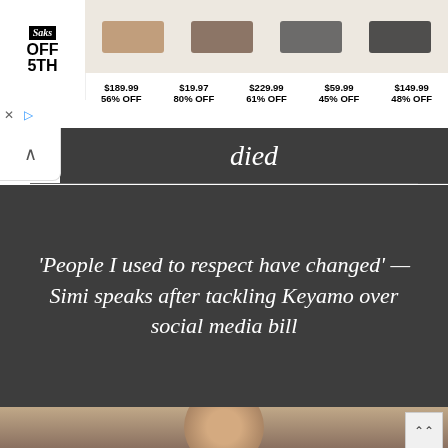[Figure (screenshot): Saks OFF 5TH advertisement banner with shoe products and discount prices: $189.99 56% OFF, $19.97 80% OFF, $229.99 61% OFF, $59.99 45% OFF, $149.99 48% OFF]
died
‘People I used to respect have changed’ — Simi speaks after tackling Keyamo over social media bill
[Figure (photo): Photo of Simi, a woman with long blonde hair, looking at the camera]